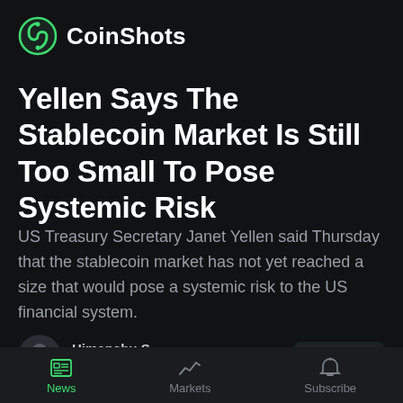CoinShots
Yellen Says The Stablecoin Market Is Still Too Small To Pose Systemic Risk
US Treasury Secretary Janet Yellen said Thursday that the stablecoin market has not yet reached a size that would pose a systemic risk to the US financial system.
Himanshu S.
10:00 12th May, 2022
News | Markets | Subscribe